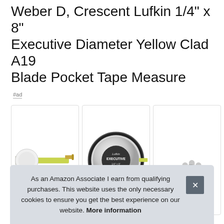Weber D, Crescent Lufkin 1/4" x 8" Executive Diameter Yellow Clad A19 Blade Pocket Tape Measure
#ad
[Figure (photo): Three product images of the Lufkin Executive tape measure: left image shows the yellow blade extended, center shows the circular chrome tape measure face with 'Lufkin EXECUTIVE' branding, right shows a hand holding the small tape measure to indicate size.]
As an Amazon Associate I earn from qualifying purchases. This website uses the only necessary cookies to ensure you get the best experience on our website. More information
Lufkin ... tires ...
simply turn the blade over for a conversion from diameter to